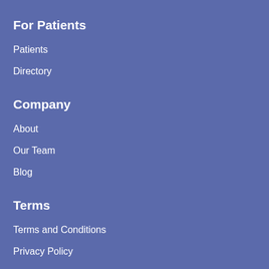For Patients
Patients
Directory
Company
About
Our Team
Blog
Terms
Terms and Conditions
Privacy Policy
Advertising Policy